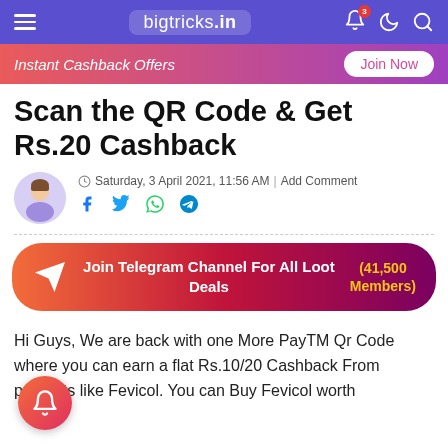bigtricks.in
Instant Cashback Offers   Join Now
Scan the QR Code & Get Rs.20 Cashback
Saturday, 3 April 2021, 11:56 AM | Add Comment
[Figure (infographic): Telegram channel join banner with paper plane icon, text 'Join Telegram Channel For All Loot Deals' and '(41,500 Members)' in yellow]
Hi Guys, We are back with one More PayTM Qr Code where you can earn a flat Rs.10/20 Cashback From products like Fevicol. You can Buy Fevicol worth